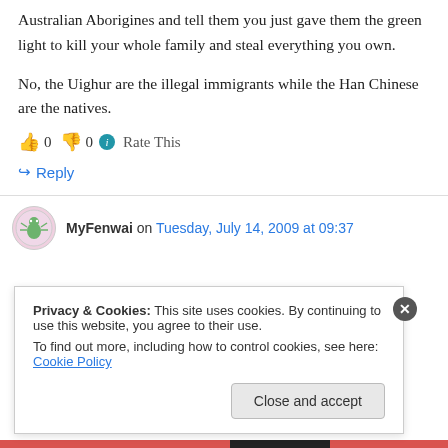Australian Aborigines and tell them you just gave them the green light to kill your whole family and steal everything you own.
No, the Uighur are the illegal immigrants while the Han Chinese are the natives.
👍 0 👎 0 ℹ Rate This
↪ Reply
MyFenwai on Tuesday, July 14, 2009 at 09:37
Privacy & Cookies: This site uses cookies. By continuing to use this website, you agree to their use. To find out more, including how to control cookies, see here: Cookie Policy
Close and accept